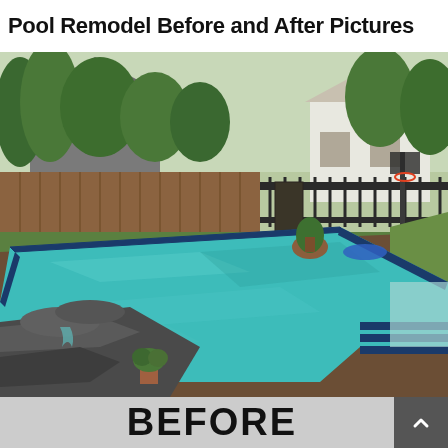Pool Remodel Before and After Pictures
[Figure (photo): Before photo of a backyard swimming pool. A large rectangular pool with teal/turquoise water is shown. The pool has a dark blue tile border. To the left is a rock waterfall feature with potted plants. The pool deck is dark brown aggregate concrete. In the background are wooden and iron fences, green trees and bushes, two houses with grey/brown roofs, and a basketball hoop. A blue foam mat sits near the far edge.]
BEFORE